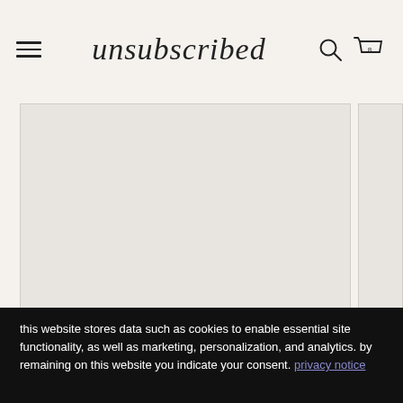unsubscribed
[Figure (photo): Two product image panels side by side; both appear as light gray placeholder/loading rectangles. Left panel is larger, right panel is partially visible at the right edge.]
this website stores data such as cookies to enable essential site functionality, as well as marketing, personalization, and analytics. by remaining on this website you indicate your consent. privacy notice